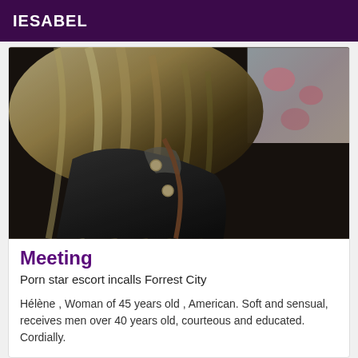IESABEL
[Figure (photo): Photo of a blonde woman wearing a dark jacket, face not visible, with blonde hair covering most of the frame. Background shows floral bedding.]
Meeting
Porn star escort incalls Forrest City
Hélène , Woman of 45 years old , American. Soft and sensual, receives men over 40 years old, courteous and educated. Cordially.
Online